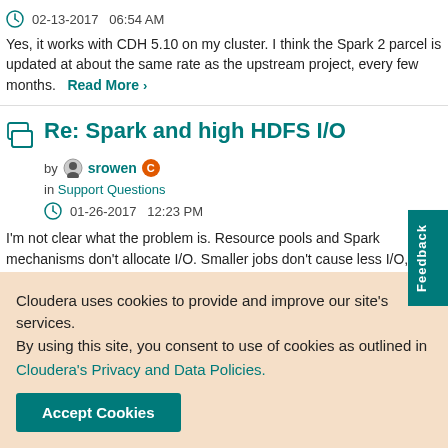02-13-2017   06:54 AM
Yes, it works with CDH 5.10 on my cluster. I think the Spark 2 parcel is updated at about the same rate as the upstream project, every few months.   Read More >
Re: Spark and high HDFS I/O
by srowen [C]
in Support Questions
01-26-2017   12:23 PM
I'm not clear what the problem is. Resource pools and Spark mechanisms don't allocate I/O. Smaller jobs don't cause less I/O, though, they might take longer and spread out that I/O. If you're seriously I/O bound, then both large and small jobs might hit the same limit. It's not clear the I/O is "too high" or that it's no   Read M
Feedback
Cloudera uses cookies to provide and improve our site's services. By using this site, you consent to use of cookies as outlined in Cloudera's Privacy and Data Policies.
Accept Cookies